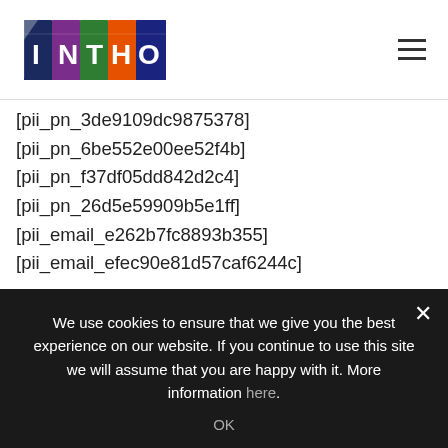INTHOW [logo] — hamburger menu
[pii_pn_3de9109dc9875378]
[pii_pn_6be552e00ee52f4b]
[pii_pn_f37df05dd842d2c4]
[pii_pn_26d5e59909b5e1ff]
[pii_email_e262b7fc8893b355]
[pii_email_efec90e81d57caf6244c]
[pii_email_bbc565e5d2e35adf4635]
[pii_email_a38b7c6e6ffab0a17237]
[pii_email_4c400f80c4bab87ddd81]
[pii_pn_ebc93b751e9c5a48]
We use cookies to ensure that we give you the best experience on our website. If you continue to use this site we will assume that you are happy with it. More information here.
OK